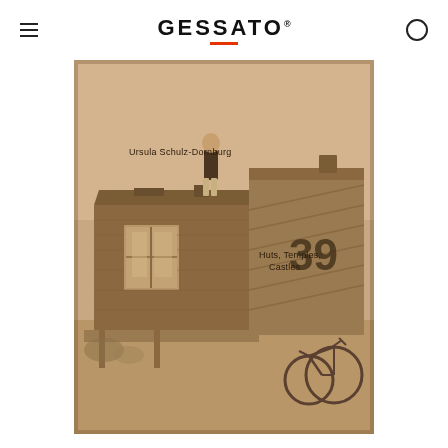GESSATO
[Figure (photo): Book cover of 'Huts, Temples, Castles' by Ursula Schulz-Dornburg. Sepia-toned photograph of a wooden shack with a person standing on the roof, a bicycle leaning against the right side, and the number 39 visible on the structure.]